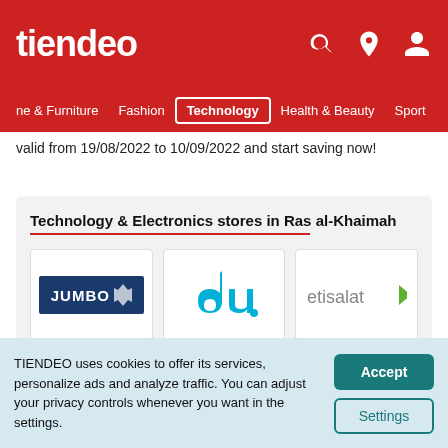tiendeo
ne & Furniture   Fashion   Technology   Health & Beauty   Sport
valid from 19/08/2022 to 10/09/2022 and start saving now!
Technology & Electronics stores in Ras al-Khaimah
[Figure (logo): JUMBO store logo - white text on dark blue background]
[Figure (logo): du telecom logo - teal d and u letters]
[Figure (logo): etisalat logo - gray text with green arrow icon]
TIENDEO uses cookies to offer its services, personalize ads and analyze traffic. You can adjust your privacy controls whenever you want in the settings.